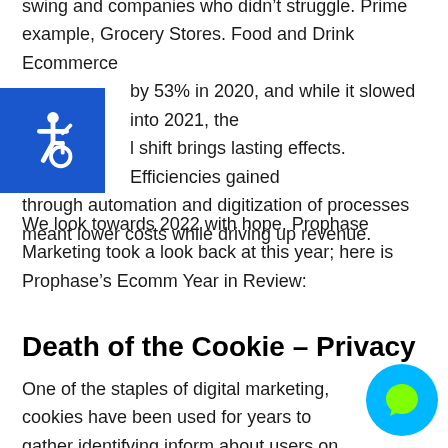swing and companies who didn't struggle. Prime example, Grocery Stores. Food and Drink Ecommerce by 53% in 2020, and while it slowed into 2021, the l shift brings lasting effects. Efficiencies gained through automation and digitization of processes meant lower costs while driving up revenue.
[Figure (illustration): Blue square accessibility icon showing a wheelchair user symbol in white]
We look towards 2022 with hope. Prophase Marketing took a look back at this year; here is Prophase's Ecomm Year in Review:
Death of the Cookie – Privacy
One of the staples of digital marketing, cookies have been used for years to gather identifying inform about users on the web. While they have made t